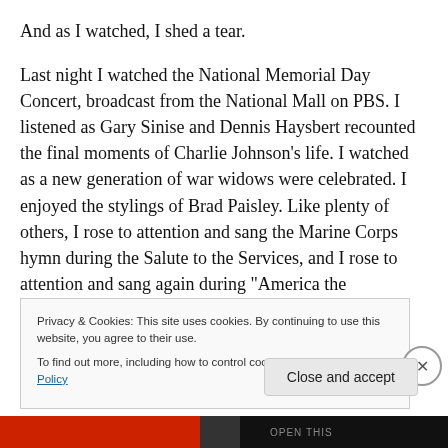And as I watched, I shed a tear.
Last night I watched the National Memorial Day Concert, broadcast from the National Mall on PBS. I listened as Gary Sinise and Dennis Haysbert recounted the final moments of Charlie Johnson’s life. I watched as a new generation of war widows were celebrated. I enjoyed the stylings of Brad Paisley. Like plenty of others, I rose to attention and sang the Marine Corps hymn during the Salute to the Services, and I rose to attention and sang again during “America the Beautiful.”
Privacy & Cookies: This site uses cookies. By continuing to use this website, you agree to their use. To find out more, including how to control cookies, see here: Cookie Policy
Close and accept